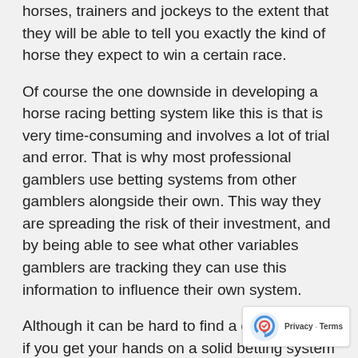horses, trainers and jockeys to the extent that they will be able to tell you exactly the kind of horse they expect to win a certain race.
Of course the one downside in developing a horse racing betting system like this is that is very time-consuming and involves a lot of trial and error. That is why most professional gamblers use betting systems from other gamblers alongside their own. This way they are spreading the risk of their investment, and by being able to see what other variables gamblers are tracking they can use this information to influence their own system.
Although it can be hard to find a good system, if you get your hands on a solid betting system it can be very valuable. Get the right information on the systems that work and you could get yourself a horse racing betting system that gives you a great rate of ret...